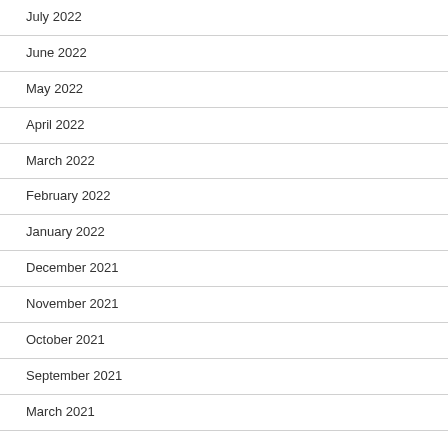July 2022
June 2022
May 2022
April 2022
March 2022
February 2022
January 2022
December 2021
November 2021
October 2021
September 2021
March 2021